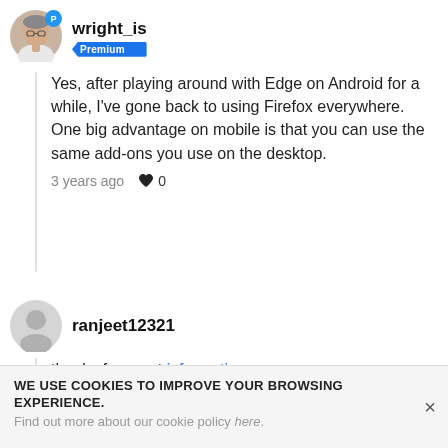wright_is — Premium
Yes, after playing around with Edge on Android for a while, I've gone back to using Firefox everywhere. One big advantage on mobile is that you can use the same add-ons you use on the desktop.
3 years ago  ♥ 0
ranjeet12321
thanks for great information
3 years ago  ♥ 0
WE USE COOKIES TO IMPROVE YOUR BROWSING EXPERIENCE. Find out more about our cookie policy here.